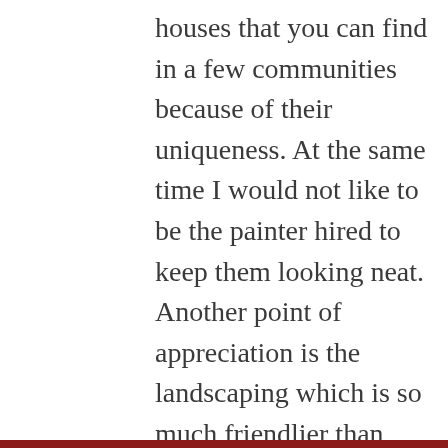houses that you can find in a few communities because of their uniqueness. At the same time I would not like to be the painter hired to keep them looking neat. Another point of appreciation is the landscaping which is so much friendlier than blocks of concrete, although the concrete blocks may be added at some point.